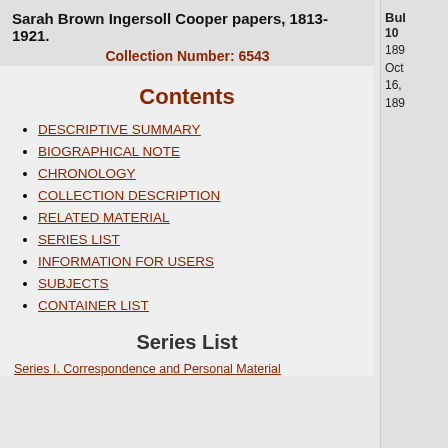Sarah Brown Ingersoll Cooper papers, 1813-1921.
Collection Number: 6543
Contents
DESCRIPTIVE SUMMARY
BIOGRAPHICAL NOTE
CHRONOLOGY
COLLECTION DESCRIPTION
RELATED MATERIAL
SERIES LIST
INFORMATION FOR USERS
SUBJECTS
CONTAINER LIST
Series List
Series I. Correspondence and Personal Material
Bulk: 10 189... Oct 16, 189...